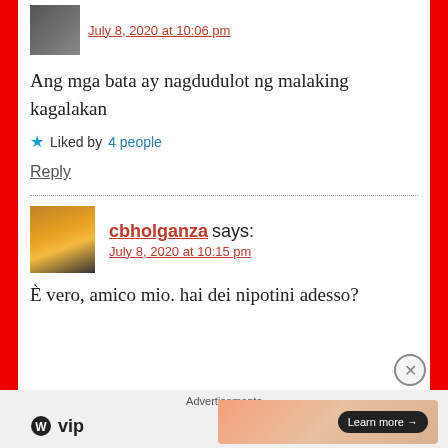July 8, 2020 at 10:06 pm
Ang mga bata ay nagdudulot ng malaking kagalakan
★ Liked by 4 people
Reply
cbholganza says:
July 8, 2020 at 10:15 pm
È vero, amico mio. hai dei nipotini adesso?
Advertisements
[Figure (logo): WordPress VIP logo with WP icon and Learn more button on gradient banner]